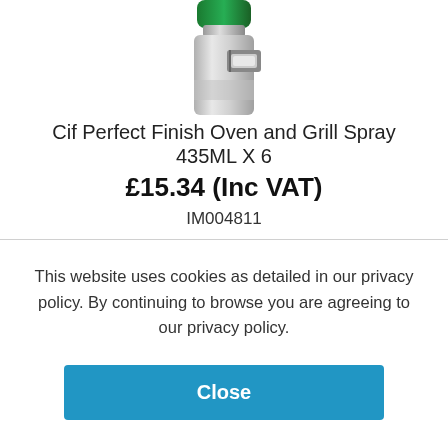[Figure (photo): Partial image of Cif Perfect Finish Oven and Grill Spray can, showing top and middle portion of the metallic spray can with green cap and open nozzle.]
Cif Perfect Finish Oven and Grill Spray 435ML X 6
£15.34 (Inc VAT)
IM004811
This website uses cookies as detailed in our privacy policy. By continuing to browse you are agreeing to our privacy policy.
Close